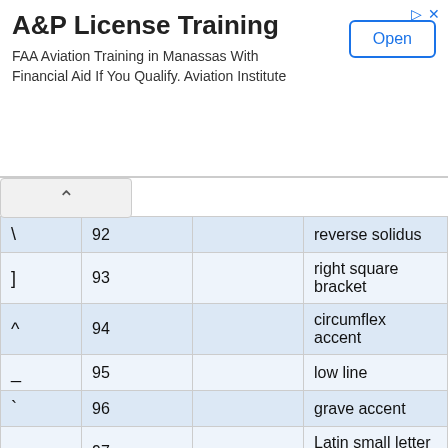[Figure (other): Advertisement banner: A&P License Training. FAA Aviation Training in Manassas With Financial Aid If You Qualify. Aviation Institute. Open button.]
|  |  |  |  |
| --- | --- | --- | --- |
| \ | 92 |  | reverse solidus |
| ] | 93 |  | right square bracket |
| ^ | 94 |  | circumflex accent |
| _ | 95 |  | low line |
| ` | 96 |  | grave accent |
| a | 97 |  | Latin small letter a |
| b | 98 |  | Latin small letter b |
| c | 99 |  | Latin small letter c |
| d | 100 |  | Latin small letter d |
| e | 101 |  | Latin small letter e |
| f | 102 |  | Latin small letter f |